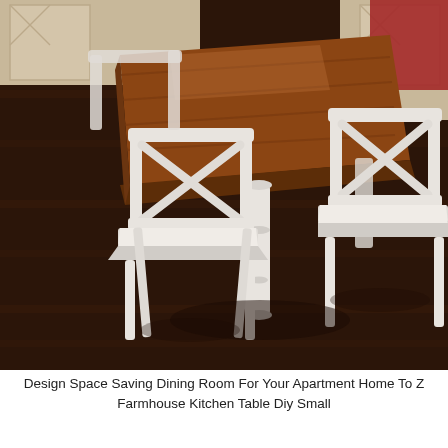[Figure (photo): A farmhouse-style small square dining table with a warm brown/reddish wood plank top and white painted legs, surrounded by white cross-back chairs, set on dark hardwood flooring in a home interior.]
Design Space Saving Dining Room For Your Apartment Home To Z Farmhouse Kitchen Table Diy Small